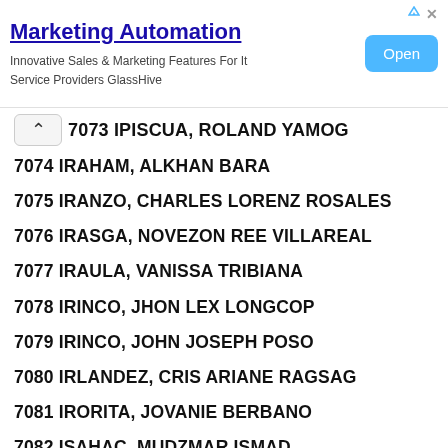[Figure (other): Advertisement banner for Marketing Automation by GlassHive with an Open button]
7073 IPISCUA, ROLAND YAMOG
7074 IRAHAM, ALKHAN BARA
7075 IRANZO, CHARLES LORENZ ROSALES
7076 IRASGA, NOVEZON REE VILLAREAL
7077 IRAULA, VANISSA TRIBIANA
7078 IRINCO, JHON LEX LONGCOP
7079 IRINCO, JOHN JOSEPH POSO
7080 IRLANDEZ, CRIS ARIANE RAGSAG
7081 IRORITA, JOVANIE BERBANO
7082 ISAHAC, MUDZMAR ISMAD
7083 ISANAN, EDGAR JR ABAIGAR